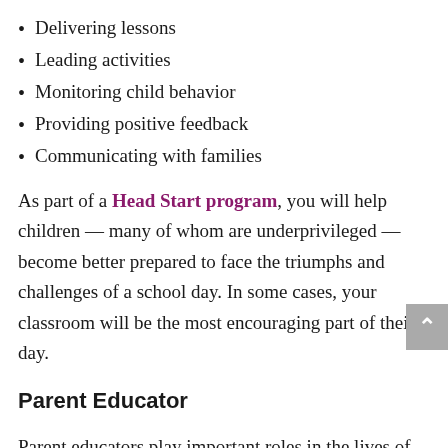Delivering lessons
Leading activities
Monitoring child behavior
Providing positive feedback
Communicating with families
As part of a Head Start program, you will help children — many of whom are underprivileged — become better prepared to face the triumphs and challenges of a school day. In some cases, your classroom will be the most encouraging part of their day.
Parent Educator
Parent educators play important roles in the lives of very young children. These are the professionals who work closely with new parents and families, helping